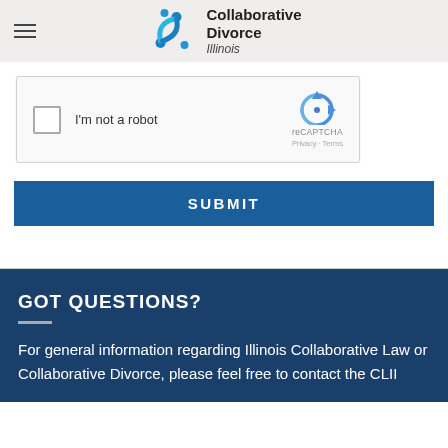Collaborative Divorce Illinois
[Figure (screenshot): reCAPTCHA widget with checkbox labeled 'I'm not a robot' and reCAPTCHA logo with Privacy and Terms links]
SUBMIT
GOT QUESTIONS?
For general information regarding Illinois Collaborative Law or Collaborative Divorce, please feel free to contact the CLII